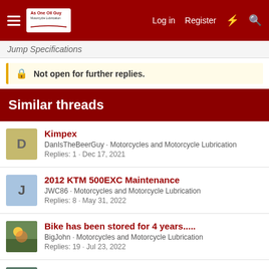Log in  Register
Jump Specifications
Not open for further replies.
Similar threads
Kimpex
DanIsTheBeerGuy · Motorcycles and Motorcycle Lubrication
Replies: 1 · Dec 17, 2021
2012 KTM 500EXC Maintenance
JWC86 · Motorcycles and Motorcycle Lubrication
Replies: 8 · May 31, 2022
Bike has been stored for 4 years.....
BigJohn · Motorcycles and Motorcycle Lubrication
Replies: 19 · Jul 23, 2022
Rotella giving me issues..... maybe?